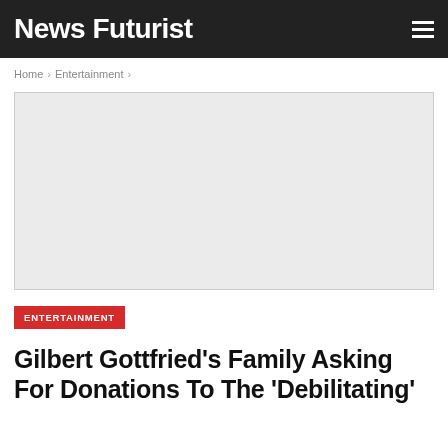News Futurist
Home › Entertainment ›
[Figure (photo): Image placeholder for article photo]
ENTERTAINMENT
Gilbert Gottfried's Family Asking For Donations To The 'Debilitating'